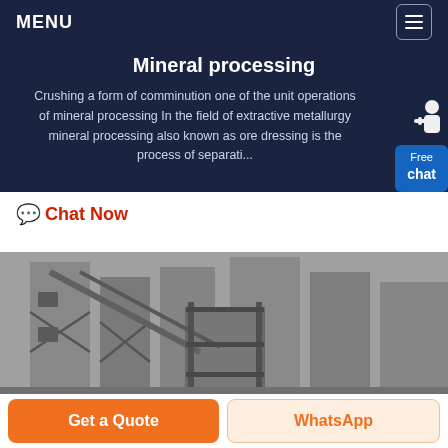MENU
Mineral processing
Crushing a form of comminution one of the unit operations of mineral processing In the field of extractive metallurgy mineral processing also known as ore dressing is the process of separati...
Chat Now
[Figure (photo): Industrial mineral processing facility showing large concrete silos and metal framework structure, black and white/grayscale photograph]
Get a Quote
WhatsApp